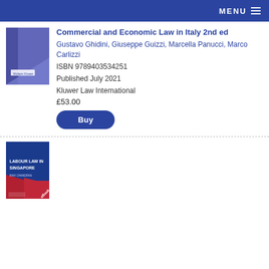MENU
[Figure (illustration): Book cover for Commercial and Economic Law in Italy 2nd ed, purple/blue cover with Wolters Kluwer logo]
Commercial and Economic Law in Italy 2nd ed
Gustavo Ghidini, Giuseppe Guizzi, Marcella Panucci, Marco Carlizzi
ISBN 9789403534251
Published July 2021
Kluwer Law International
£53.00
Buy
[Figure (illustration): Book cover for Labour Law in Singapore, blue and red cover with eBook ribbon, author Ravi Chandran]